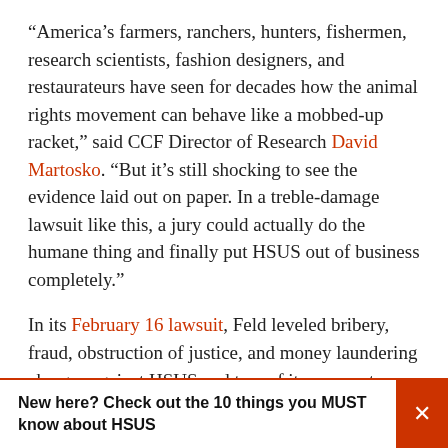“America’s farmers, ranchers, hunters, fishermen, research scientists, fashion designers, and restaurateurs have seen for decades how the animal rights movement can behave like a mobbed-up racket,” said CCF Director of Research David Martosko. “But it’s still shocking to see the evidence laid out on paper. In a treble-damage lawsuit like this, a jury could actually do the humane thing and finally put HSUS out of business completely.”
In its February 16 lawsuit, Feld leveled bribery, fraud, obstruction of justice, and money laundering charges against HSUS and two of its corporate attorneys; three other animal rights groups; the Washington, DC law firm of Meyer Glitzenstein & Crystal; and all three of that firm’s named partners.
New here? Check out the 10 things you MUST know about HSUS